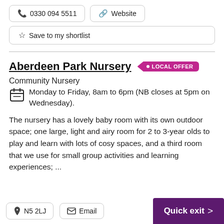📞 0330 094 5511
🔗 Website
☆ Save to my shortlist
Aberdeen Park Nursery • LOCAL OFFER
Community Nursery
Monday to Friday, 8am to 6pm (NB closes at 5pm on Wednesday).
The nursery has a lovely baby room with its own outdoor space; one large, light and airy room for 2 to 3-year olds to play and learn with lots of cosy spaces, and a third room that we use for small group activities and learning experiences; ...
N5 2LJ
Email